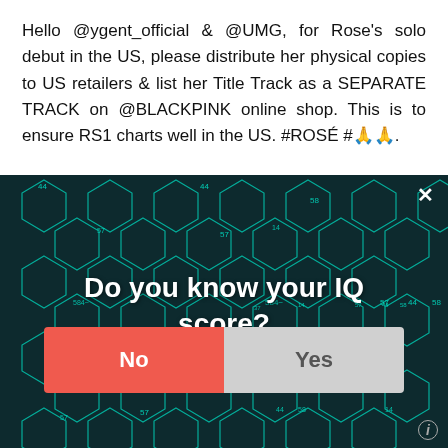Hello @ygent_official & @UMG, for Rose's solo debut in the US, please distribute her physical copies to US retailers & list her Title Track as a SEPARATE TRACK on @BLACKPINK online shop. This is to ensure RS1 charts well in the US. #ROSÉ #🙏🙏.
[Figure (screenshot): Red button labeled 'Load More Song Reviews!' partially visible behind a modal popup overlay]
[Figure (screenshot): Modal popup overlay with dark teal hexagon pattern background, a close X button, text 'Do you know your IQ score?', and two buttons: 'No' (orange/red) and 'Yes' (gray)]
require registration...